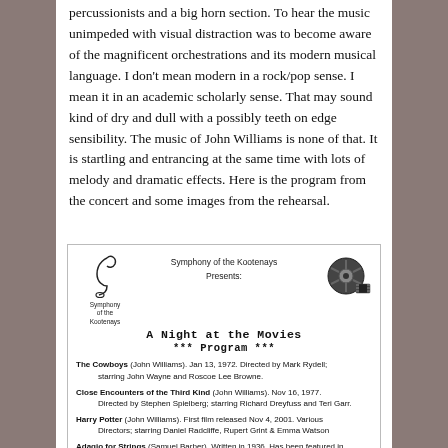percussionists and a big horn section. To hear the music unimpeded with visual distraction was to become aware of the magnificent orchestrations and its modern musical language. I don't mean modern in a rock/pop sense. I mean it in an academic scholarly sense. That may sound kind of dry and dull with a possibly teeth on edge sensibility. The music of John Williams is none of that. It is startling and entrancing at the same time with lots of melody and dramatic effects. Here is the program from the concert and some images from the rehearsal.
[Figure (other): Concert program for Symphony of the Kootenays presenting 'A Night at the Movies', featuring treble clef logo, film reel icon, and program listing including The Cowboys, Close Encounters of the Third Kind, Harry Potter, and Adagio for Strings.]